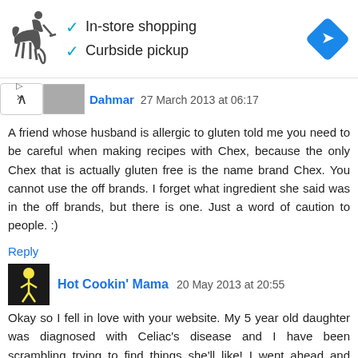[Figure (infographic): Ad banner: Ralph Lauren polo player logo on left, two teal checkmarks listing 'In-store shopping' and 'Curbside pickup', blue diamond navigation icon on right]
Dahmar 27 March 2013 at 06:17
A friend whose husband is allergic to gluten told me you need to be careful when making recipes with Chex, because the only Chex that is actually gluten free is the name brand Chex. You cannot use the off brands. I forget what ingredient she said was in the off brands, but there is one. Just a word of caution to people. :)
Reply
Hot Cookin' Mama 20 May 2013 at 20:55
Okay so I fell in love with your website. My 5 year old daughter was diagnosed with Celiac's disease and I have been scrambling trying to find things she'll like! I went ahead and made these. Freakin' loved them and shared them on my site! I linked back to ya so hopefully you get all the credit you deserve for this amazing treat!